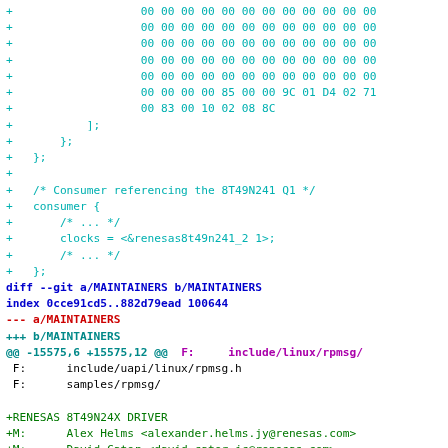Diff/patch output showing code changes to MAINTAINERS and device tree files
+ 00 00 00 00 00 00 00 00 00 00 00 00...
+ /* Consumer referencing the 8T49N241 Q1 */
+ consumer {
+ clocks = <&renesas8t49n241_2 1>;
+ };
diff --git a/MAINTAINERS b/MAINTAINERS
index 0cce91cd5..882d79ead 100644
--- a/MAINTAINERS
+++ b/MAINTAINERS
@@ -15575,6 +15575,12 @@ F: include/linux/rpmsg/
 F: include/uapi/linux/rpmsg.h
 F: samples/rpmsg/

+RENESAS 8T49N24X DRIVER
+M: Alex Helms <alexander.helms.jy@renesas.com>
+M: David Cater <david.cater.jc@renesas.com>
+S: Odd Fixes
+F: Documentation/devicetree/bindings/clock/rene
+
-RENESAS CLOCK DRIVERS